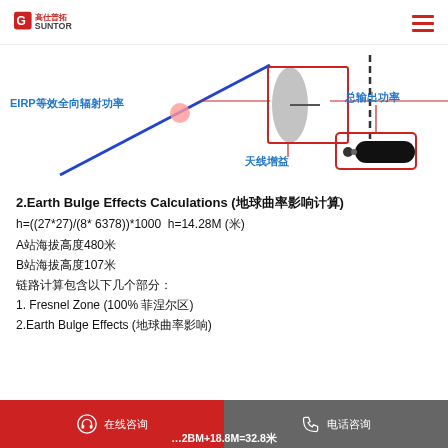Suntor logo and navigation
[Figure (engineering-diagram): Diagram showing EIRP (等效全向辐射功率), antenna gain (天线增益), and total output power (总输出功率) with labeled arrows and components including a dish antenna and transmitter device.]
2.Earth Bulge Effects Calculations (地球曲率影响计算)
A站海拔高度480米
B站海拔高度107米
链路计算包含以下几个部分：
1. Fresnel Zone (100% 菲涅尔区)
2.Earth Bulge Effects (地球曲率影响)
在线咨询    电话咨询    …2BM+18.8M=32.8米